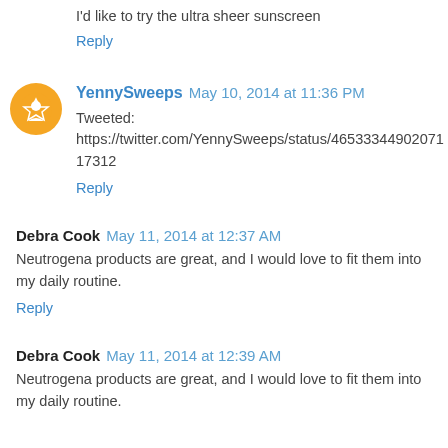I'd like to try the ultra sheer sunscreen
Reply
YennySweeps  May 10, 2014 at 11:36 PM
Tweeted: https://twitter.com/YennySweeps/status/465334490207117312
Reply
Debra Cook  May 11, 2014 at 12:37 AM
Neutrogena products are great, and I would love to fit them into my daily routine.
Reply
Debra Cook  May 11, 2014 at 12:39 AM
Neutrogena products are great, and I would love to fit them into my daily routine.